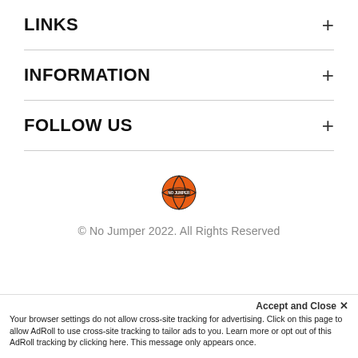LINKS
INFORMATION
FOLLOW US
[Figure (logo): No Jumper basketball logo]
© No Jumper 2022. All Rights Reserved
Accept and Close ✕
Your browser settings do not allow cross-site tracking for advertising. Click on this page to allow AdRoll to use cross-site tracking to tailor ads to you. Learn more or opt out of this AdRoll tracking by clicking here. This message only appears once.